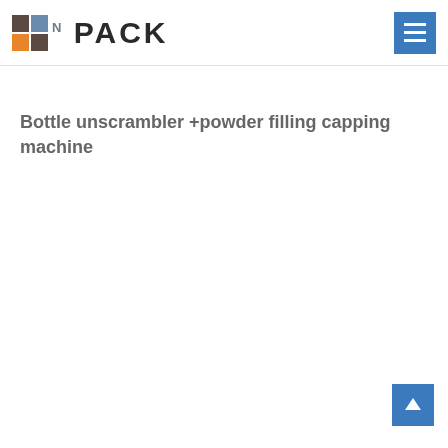[Figure (logo): N-PACK logo with colored grid squares (dark brown, blue, orange, dark brown) and bold PACK text with superscript N]
Bottle unscrambler +powder filling capping machine